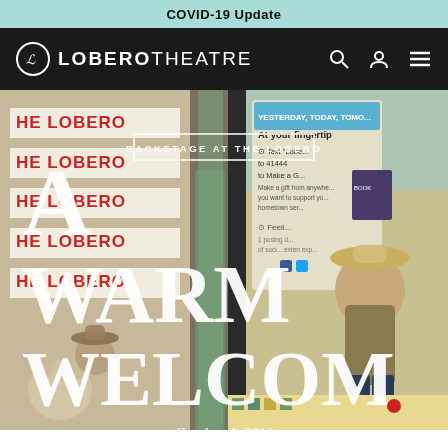COVID-19 Update
[Figure (screenshot): Lobero Theatre website navigation bar with logo on dark background, search, account, and menu icons]
[Figure (photo): Hero image collage showing Lobero Theatre marquee signs on left and a woman in a hat sitting on a tiled bench on the right, with large white text overlay reading 'BACKSTAGE AT THE LOBERO / A WARM WELCOM']
October 4, 2018